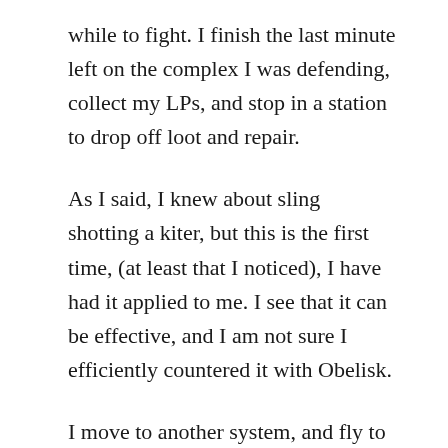while to fight. I finish the last minute left on the complex I was defending, collect my LPs, and stop in a station to drop off loot and repair.
As I said, I knew about sling shotting a kiter, but this is the first time, (at least that I noticed), I have had it applied to me. I see that it can be effective, and I am not sure I efficiently countered it with Obelisk.
I move to another system, and fly to the novice complex. Just as I start my little routine after warping into the complex, a familiar face, Tofi Jirgori, appears in the system – LP farmer/bot. I decide to try a little strategy hypothesis I mulled over during off hours, and warp to another, non-novice complex in the system. Considering the time it takes me to fly to the complex, I